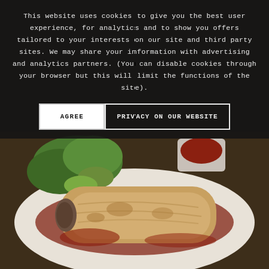[Figure (photo): Food photo showing a burrito or enchilada dish on a white plate with red sauce, accompanied by green salad and avocado, with a small bowl of sauce in background. The photo occupies the full page as background, visible in the lower portion below the cookie consent overlay.]
This website uses cookies to give you the best user experience, for analytics and to show you offers tailored to your interests on our site and third party sites. We may share your information with advertising and analytics partners. (You can disable cookies through your browser but this will limit the functions of the site).
AGREE
PRIVACY ON OUR WEBSITE